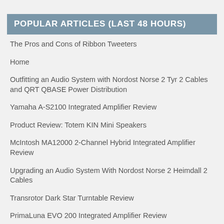POPULAR ARTICLES (LAST 48 HOURS)
The Pros and Cons of Ribbon Tweeters
Home
Outfitting an Audio System with Nordost Norse 2 Tyr 2 Cables and QRT QBASE Power Distribution
Yamaha A-S2100 Integrated Amplifier Review
Product Review: Totem KIN Mini Speakers
McIntosh MA12000 2-Channel Hybrid Integrated Amplifier Review
Upgrading an Audio System With Nordost Norse 2 Heimdall 2 Cables
Transrotor Dark Star Turntable Review
PrimaLuna EVO 200 Integrated Amplifier Review